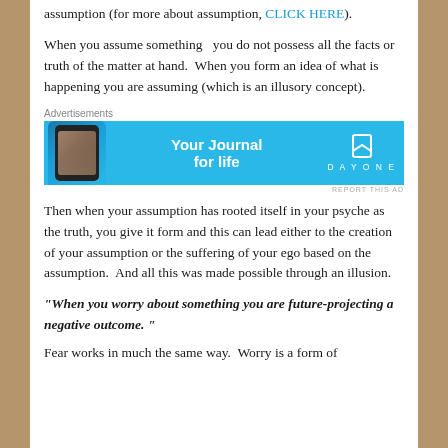assumption (for more about assumption, CLICK HERE).
When you assume something  you do not possess all the facts or truth of the matter at hand.  When you form an idea of what is happening you are assuming (which is an illusory concept).
[Figure (other): Advertisement banner for Day One journal app showing a phone with the text 'Your Journal for life' on a blue background with a bookmark icon and DAYONE branding]
Then when your assumption has rooted itself in your psyche as the truth, you give it form and this can lead either to the creation of your assumption or the suffering of your ego based on the assumption.  And all this was made possible through an illusion.
“When you worry about something you are future-projecting a negative outcome. ”
Fear works in much the same way.  Worry is a form of